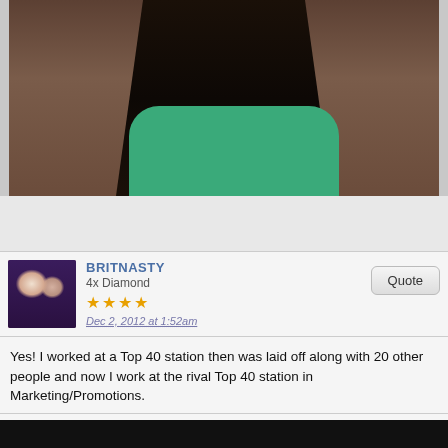[Figure (photo): A person with dark hair and green t-shirt sitting on a brown leather sofa, resting chin on hand.]
BRITNASTY
4x Diamond
Dec 2, 2012 at 1:52am
Yes! I worked at a Top 40 station then was laid off along with 20 other people and now I work at the rival Top 40 station in Marketing/Promotions.
Parker
Nervous Breakthrough